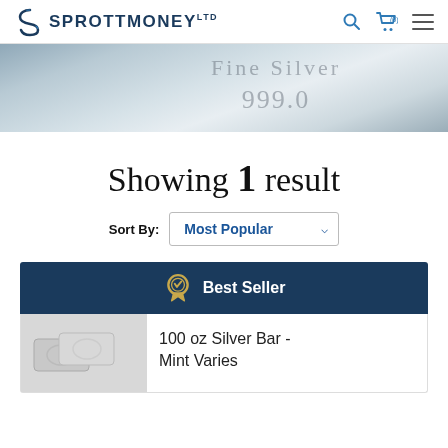SPROTT MONEY
[Figure (photo): Close-up photo of a silver bar with text '999 Fine Silver' engraved on it]
Showing 1 result
Sort By: Most Popular
Best Seller
[Figure (photo): 100 oz Silver Bar product image showing two silver bars]
100 oz Silver Bar - Mint Varies